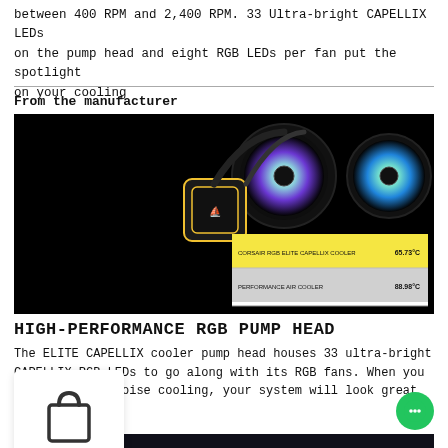between 400 RPM and 2,400 RPM. 33 Ultra-bright CAPELLIX LEDs on the pump head and eight RGB LEDs per fan put the spotlight on your cooling
From the manufacturer
[Figure (photo): Product photo of Corsair RGB Elite CAPELLIX liquid cooler with two RGB fans on black background, alongside a benchmark comparison table showing CORSAIR RGB ELITE CAPELLIX COOLER at 65.73°C versus PERFORMANCE AIR COOLER at 88.98°C]
HIGH-PERFORMANCE RGB PUMP HEAD
The ELITE CAPELLIX cooler pump head houses 33 ultra-bright CAPELLIX RGB LEDs to go along with its RGB fans. When you add low-noise cooling, your system will look great and run...
[Figure (photo): Shopping bag icon overlay (UI element)]
[Figure (photo): Bottom strip showing product with cyan/blue RGB lighting]